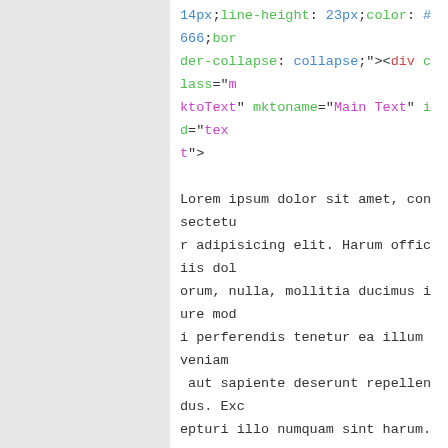14px;line-height: 23px;color: #666;border-collapse: collapse;"><div class="mktoText" mktoname="Main Text" id="text">

Lorem ipsum dolor sit amet, consectetur adipisicing elit. Harum officiis dolorum, nulla, mollitia ducimus iure modi perferendis tenetur ea illum veniam aut sapiente deserunt repellendus. Excepturi illo numquam sint harum.

</div></td>

</tr>

<tr>

<td class="" style="-webkit-text-size-adjust: 100%;-ms-text-size-adjust: 100%;mso-table-lspace: 0pt;mso-table-rsp